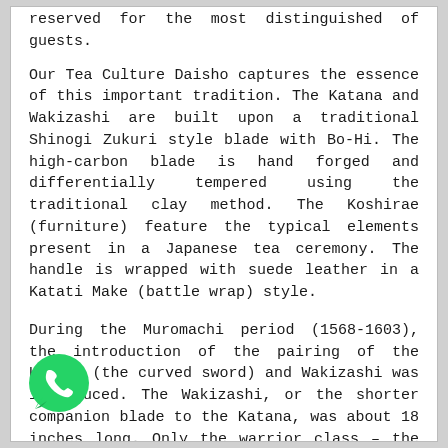reserved for the most distinguished of guests.
Our Tea Culture Daisho captures the essence of this important tradition. The Katana and Wakizashi are built upon a traditional Shinogi Zukuri style blade with Bo-Hi. The high-carbon blade is hand forged and differentially tempered using the traditional clay method. The Koshirae (furniture) feature the typical elements present in a Japanese tea ceremony. The handle is wrapped with suede leather in a Katati Make (battle wrap) style.
During the Muromachi period (1568-1603), the introduction of the pairing of the Katana (the curved sword) and Wakizashi was introduced. The Wakizashi, or the shorter companion blade to the Katana, was about 18 inches long. Only the warrior class – the Samurai – was allowed to wear the two swords, which remained a custom the next several hundred years until abolished in the 19th century.
[Figure (illustration): WhatsApp green phone icon in bottom left corner]